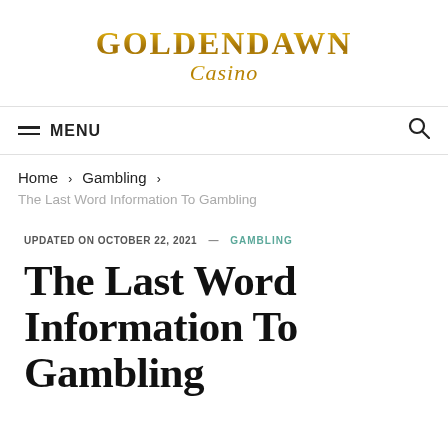[Figure (logo): Golden Dawn Casino logo with arched gold text 'GOLDENDAWN' and italic script 'Casino' beneath]
≡ MENU
Home › Gambling ›
The Last Word Information To Gambling
UPDATED ON OCTOBER 22, 2021 — GAMBLING
The Last Word Information To Gambling